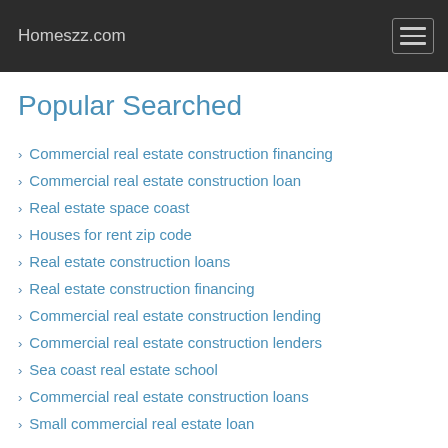Homeszz.com
Popular Searched
Commercial real estate construction financing
Commercial real estate construction loan
Real estate space coast
Houses for rent zip code
Real estate construction loans
Real estate construction financing
Commercial real estate construction lending
Commercial real estate construction lenders
Sea coast real estate school
Commercial real estate construction loans
Small commercial real estate loan